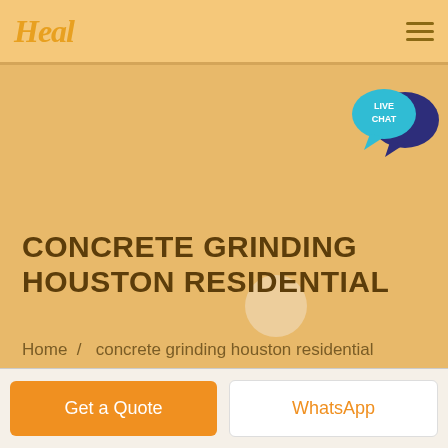Heal
[Figure (illustration): Live chat speech bubble icon with 'LIVE CHAT' text in teal/cyan color, with a dark blue speech bubble overlapping behind it.]
CONCRETE GRINDING HOUSTON RESIDENTIAL
Home  /  concrete grinding houston residential
Get a Quote
WhatsApp